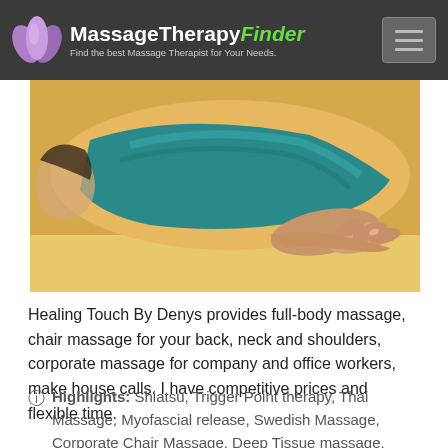MassageTherapyFinder — Find the best Massage Therapist for Your Needs.
[Figure (photo): Close-up photo of a person receiving a massage, lying face down with a teal/turquoise covering, hands visible on a yellow surface.]
Healing Touch By Denys provides full-body massage, chair massage for your back, neck and shoulders, corporate massage for company and office workers, make house calls. I have competitive prices and flexible time.
Highlights: Shiatsu, Trigger Point therapy, Thai Massage, Myofascial release, Swedish Massage, Corporate Chair Massage, Deep Tissue massage, Active Isolated Stretching, Reflexology